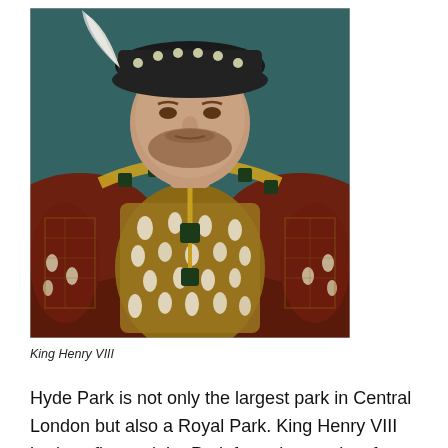[Figure (photo): Portrait painting of King Henry VIII, a heavyset man in ornate Tudor royal attire including a jeweled dark cap with white feather, brown and gold embroidered doublet with white ermine trim, and a jeweled chain/collar. He has a short beard and stern expression. The background is dark teal.]
King Henry VIII
Hyde Park is not only the largest park in Central London but also a Royal Park. King Henry VIII had confiscated the Park from the monks of Westminster Abbey in the year 1536. He